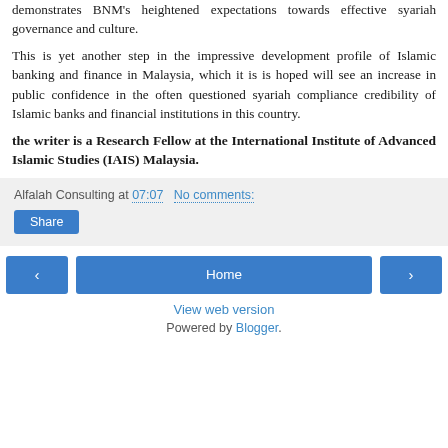demonstrates BNM's heightened expectations towards effective syariah governance and culture.
This is yet another step in the impressive development profile of Islamic banking and finance in Malaysia, which it is is hoped will see an increase in public confidence in the often questioned syariah compliance credibility of Islamic banks and financial institutions in this country.
the writer is a Research Fellow at the International Institute of Advanced Islamic Studies (IAIS) Malaysia.
Alfalah Consulting at 07:07   No comments:
Share
Home
View web version
Powered by Blogger.